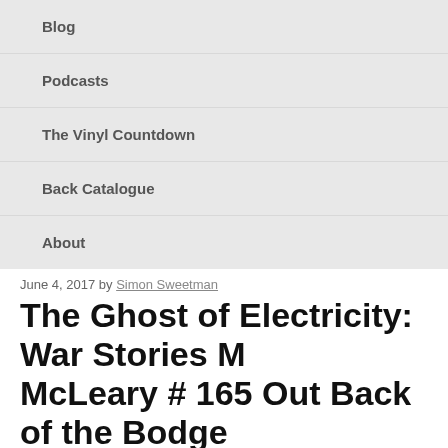Blog
Podcasts
The Vinyl Countdown
Back Catalogue
About
June 4, 2017 by Simon Sweetman
The Ghost of Electricity: War Stories McLeary # 165 Out Back of the Bodge
Once Mo took over the bar he really did try to improve conditions out in roof over part of it with scaffolding and a couple of wall heaters. So the gro anything – for a few years anyway. Oranjeboom was the beer of choice, a w a reasonable price.